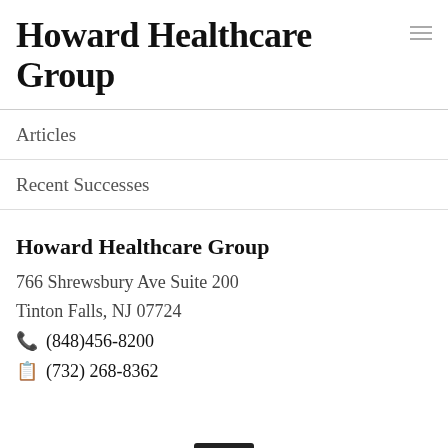Howard Healthcare Group
Articles
Recent Successes
Howard Healthcare Group
766 Shrewsbury Ave Suite 200
Tinton Falls, NJ 07724
(848)456-8200
(732) 268-8362